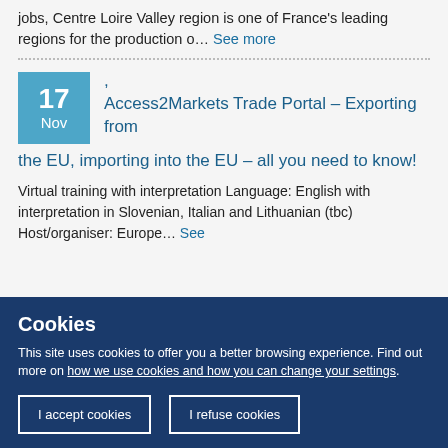jobs, Centre Loire Valley region is one of France's leading regions for the production o… See more
Access2Markets Trade Portal – Exporting from the EU, importing into the EU – all you need to know!
Virtual training with interpretation Language: English with interpretation in Slovenian, Italian and Lithuanian (tbc) Host/organiser: Europe… See
Cookies
This site uses cookies to offer you a better browsing experience. Find out more on how we use cookies and how you can change your settings.
I accept cookies
I refuse cookies